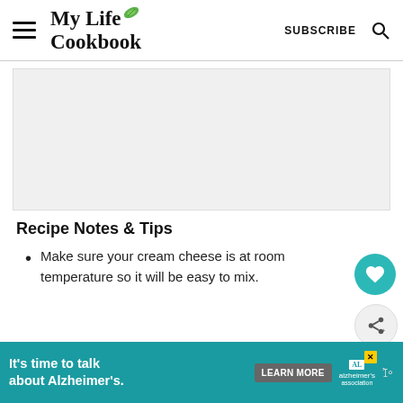My Life Cookbook — SUBSCRIBE
[Figure (other): Gray placeholder ad area rectangle]
Recipe Notes & Tips
Make sure your cream cheese is at room temperature so it will be easy to mix.
[Figure (other): Teal ad banner: It's time to talk about Alzheimer's. LEARN MORE. Alzheimer's Association logo.]